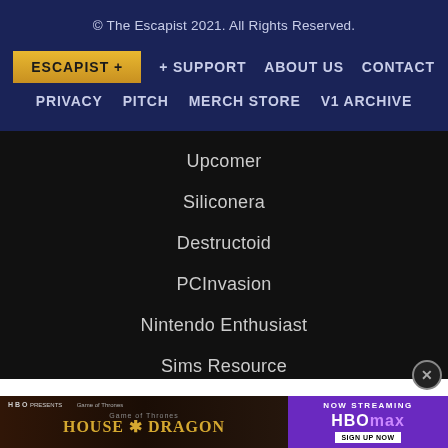© The Escapist 2021. All Rights Reserved.
ESCAPIST +
+ SUPPORT
ABOUT US
CONTACT
PRIVACY
PITCH
MERCH STORE
V1 ARCHIVE
Upcomer
Siliconera
Destructoid
PCInvasion
Nintendo Enthusiast
Sims Resource
[Figure (screenshot): House of the Dragon HBO advertisement banner with HBOmax Now Streaming promotional content]